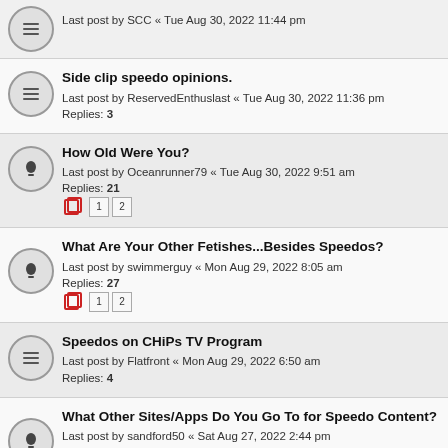Last post by SCC « Tue Aug 30, 2022 11:44 pm
Side clip speedo opinions.
Last post by ReservedEnthuslast « Tue Aug 30, 2022 11:36 pm
Replies: 3
How Old Were You?
Last post by Oceanrunner79 « Tue Aug 30, 2022 9:51 am
Replies: 21
Pages: 1 2
What Are Your Other Fetishes...Besides Speedos?
Last post by swimmerguy « Mon Aug 29, 2022 8:05 am
Replies: 27
Pages: 1 2
Speedos on CHiPs TV Program
Last post by Flatfront « Mon Aug 29, 2022 6:50 am
Replies: 4
What Other Sites/Apps Do You Go To for Speedo Content?
Last post by sandford50 « Sat Aug 27, 2022 2:44 pm
Replies: 22